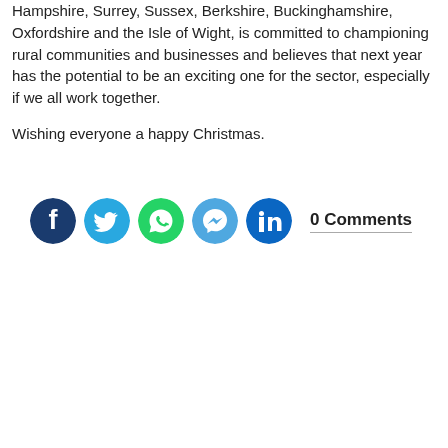Hampshire, Surrey, Sussex, Berkshire, Buckinghamshire, Oxfordshire and the Isle of Wight, is committed to championing rural communities and businesses and believes that next year has the potential to be an exciting one for the sector, especially if we all work together.

Wishing everyone a happy Christmas.
[Figure (infographic): Row of five social media icon buttons (Facebook, Twitter, WhatsApp, Messenger, LinkedIn) followed by '0 Comments' label]